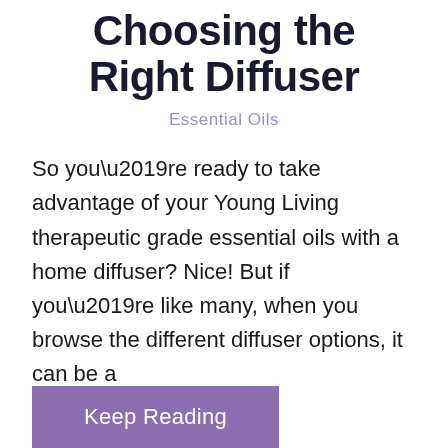Choosing the Right Diffuser
Essential Oils
So you’re ready to take advantage of your Young Living therapeutic grade essential oils with a home diffuser? Nice! But if you’re like many, when you browse the different diffuser options, it can be a
Keep Reading